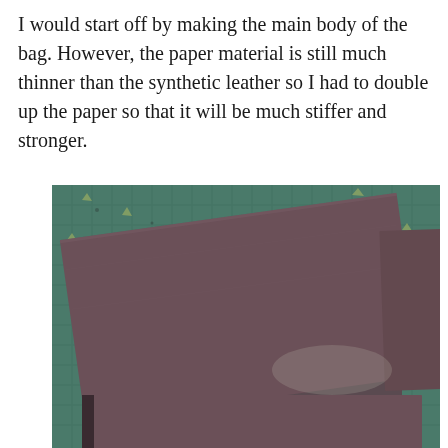I would start off by making the main body of the bag. However, the paper material is still much thinner than the synthetic leather so I had to double up the paper so that it will be much stiffer and stronger.
[Figure (photo): Photo showing several dark brown/mauve rectangular pieces of doubled-up paper laid on a green cutting mat, overlapping each other at various angles. The pieces appear stiff and thick.]